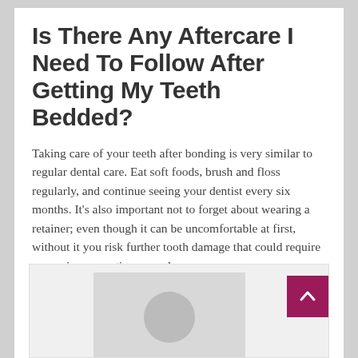Is There Any Aftercare I Need To Follow After Getting My Teeth Bedded?
Taking care of your teeth after bonding is very similar to regular dental care. Eat soft foods, brush and floss regularly, and continue seeing your dentist every six months. It's also important not to forget about wearing a retainer; even though it can be uncomfortable at first, without it you risk further tooth damage that could require expensive corrective procedures.
[Figure (photo): Partial view of a card/section with a placeholder avatar image (grey circle on grey background), with a dark magenta scroll-to-top button in the upper right corner.]